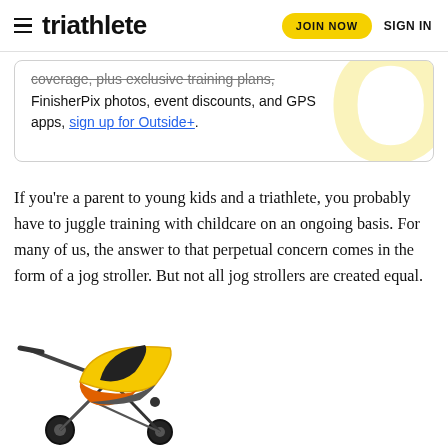triathlete | JOIN NOW | SIGN IN
coverage, plus exclusive training plans, FinisherPix photos, event discounts, and GPS apps, sign up for Outside+.
If you're a parent to young kids and a triathlete, you probably have to juggle training with childcare on an ongoing basis. For many of us, the answer to that perpetual concern comes in the form of a jog stroller. But not all jog strollers are created equal.
[Figure (photo): Yellow and black/orange jogging stroller partial view from the front-left angle]